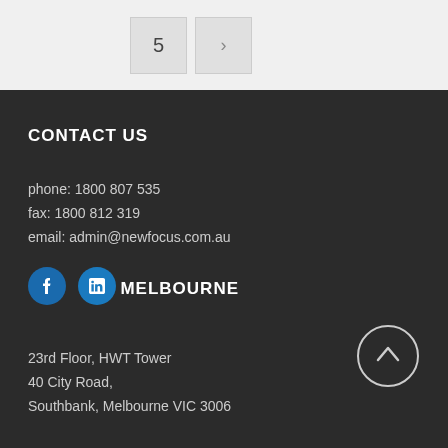[Figure (screenshot): Pagination buttons showing page 5 and a next arrow button]
CONTACT US
phone: 1800 807 535
fax: 1800 812 319
email: admin@newfocus.com.au
[Figure (infographic): Facebook and LinkedIn social media icon buttons]
MELBOURNE
23rd Floor, HWT Tower
40 City Road,
Southbank, Melbourne VIC 3006